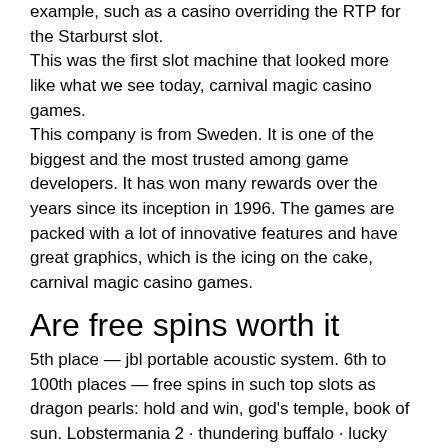example, such as a casino overriding the RTP for the Starburst slot.
This was the first slot machine that looked more like what we see today, carnival magic casino games.
This company is from Sweden. It is one of the biggest and the most trusted among game developers. It has won many rewards over the years since its inception in 1996. The games are packed with a lot of innovative features and have great graphics, which is the icing on the cake, carnival magic casino games.
Are free spins worth it
5th place — jbl portable acoustic system. 6th to 100th places — free spins in such top slots as dragon pearls: hold and win, god's temple, book of sun. Lobstermania 2 · thundering buffalo · lucky larry's lobstermania · buffalo gold slot machine · game king keno · shoot to win craps.